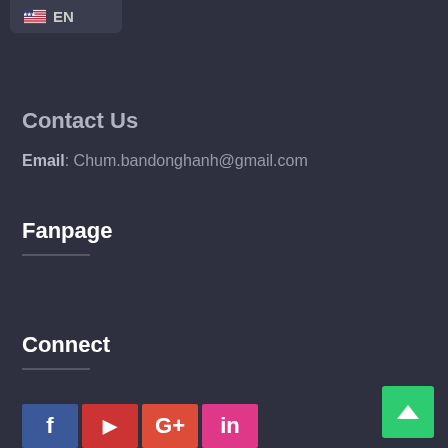[Figure (screenshot): Language selector button showing US flag and EN text on dark background]
Contact Us
Email: Chum.bandonghanh@gmail.com
Fanpage
Connect
[Figure (infographic): Row of social media icons: Facebook (blue), YouTube (red), Google+ (red-orange), LinkedIn/Pinterest (pink)]
[Figure (other): Green back-to-top button with upward arrow, bottom right corner]